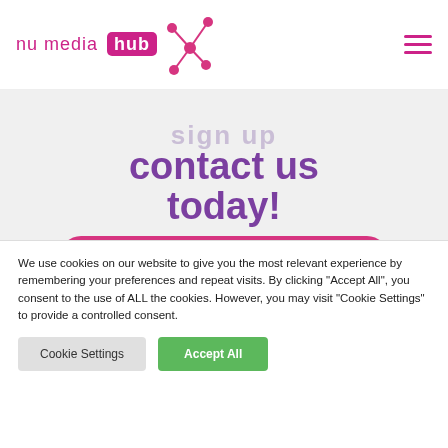nu media hub
sign up · contact us today!
Subscribe to NU MEDIA HUB
We use cookies on our website to give you the most relevant experience by remembering your preferences and repeat visits. By clicking "Accept All", you consent to the use of ALL the cookies. However, you may visit "Cookie Settings" to provide a controlled consent.
Cookie Settings | Accept All